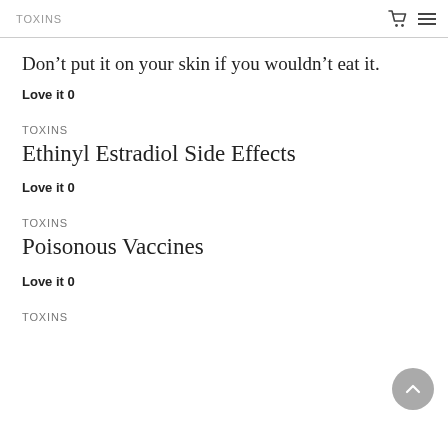TOXINS
Don’t put it on your skin if you wouldn’t eat it.
Love it 0
TOXINS
Ethinyl Estradiol Side Effects
Love it 0
TOXINS
Poisonous Vaccines
Love it 0
TOXINS